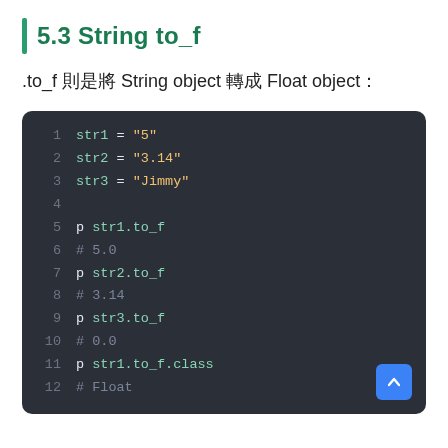5.3 String to_f
.to_f 則是將 String object 轉成 Float object：
[Figure (screenshot): Dark-themed code block showing Ruby code with line numbers 1-12. Lines 1-3 assign str1="5", str2="3.14", str3="Jimmy". Line 4 is blank. Lines 5-12 show p str1.to_f (# 5.0), p str2.to_f (# 3.14), p str3.to_f (# 0.0), p str1.to_f.class (# Float). A blue back-to-top button is in the bottom right corner.]